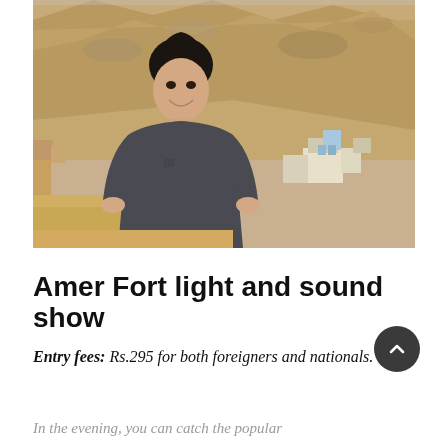[Figure (photo): A woman wearing a dark grey t-shirt smiling at the camera, standing in front of a hillside with dry vegetation, a fort wall, and some buildings in the background. Outdoor daytime photo taken at Amer Fort area, Jaipur.]
Amer Fort light and sound show
Entry fees: Rs.295 for both foreigners and nationals.
In the evening, you can catch the popular